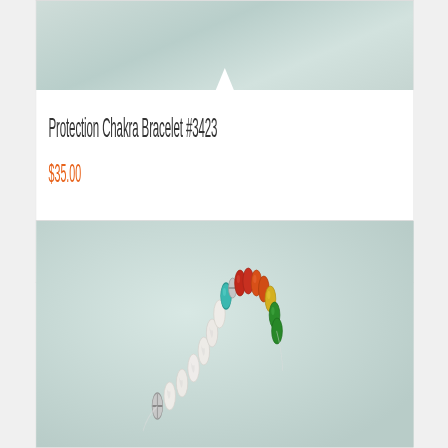[Figure (photo): Top portion of a product card showing a light teal/white fabric background — product image area.]
Protection Chakra Bracelet #3423
$35.00
Read more | Show Details
[Figure (photo): Photo of a chakra bracelet with colorful gemstone beads — white howlite, turquoise, red, orange carnelian, yellow citrine, green — arranged in a circular shape on a light fabric background.]